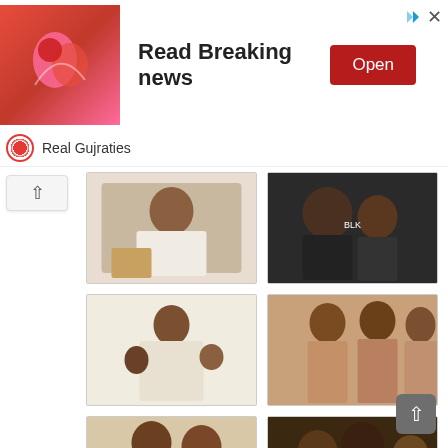[Figure (screenshot): Advertisement banner: image of couple on left, 'Read Breaking news' text in center, red 'Open' button on right. Top-right has ad icon and close X.]
Real Gujraties
[Figure (photo): Man in white shirt sitting, cropped photo]
[Figure (photo): Man and woman smiling at camera, dark background]
[Figure (photo): Woman holding children on sofa, striped outfit]
[Figure (photo): Three women in fitted dresses, composite photo showing front and back]
[Figure (photo): Group of men including one in red cap and one in patterned shirt]
[Figure (photo): Group photo with woman holding framed record, man with afro, another man]
[Figure (photo): Partial photo at bottom left, person visible]
[Figure (photo): Partial photo at bottom right]